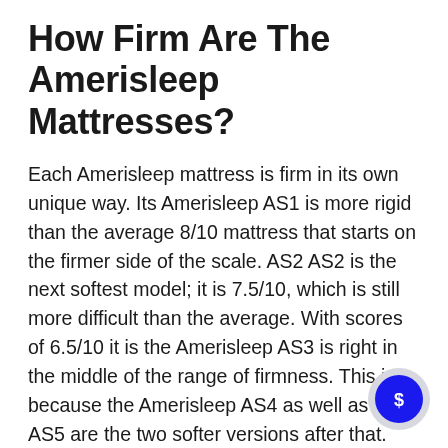How Firm Are The Amerisleep Mattresses?
Each Amerisleep mattress is firm in its own unique way. Its Amerisleep AS1 is more rigid than the average 8/10 mattress that starts on the firmer side of the scale. AS2 AS2 is the next softest model; it is 7.5/10, which is still more difficult than the average. With scores of 6.5/10 it is the Amerisleep AS3 is right in the middle of the range of firmness. This is because the Amerisleep AS4 as well as the AS5 are the two softer versions after that. The AS4 is more comfortable than average at 6/10. The AS5 is less abrasive than average at 5.5/10.